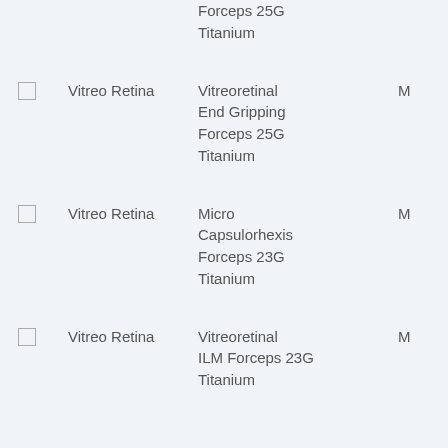Forceps 25G Titanium
Vitreo Retina | Vitreoretinal End Gripping Forceps 25G Titanium | M
Vitreo Retina | Micro Capsulorhexis Forceps 23G Titanium | M
Vitreo Retina | Vitreoretinal ILM Forceps 23G Titanium | M